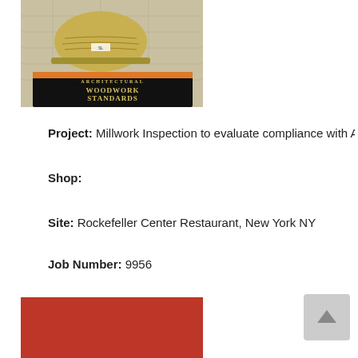[Figure (photo): A wooden-patterned hard hat sitting on top of architectural blueprints and a book titled 'Architectural Woodwork Standards']
Project: Millwork Inspection to evaluate compliance with AWI
Shop:
Site: Rockefeller Center Restaurant, New York NY
Job Number: 9956
[Figure (photo): Red/rust colored surface or material, partial view]